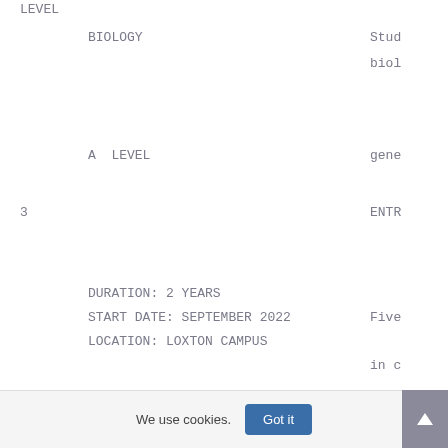LEVEL
BIOLOGY
Stud
biol
A LEVEL
gene
3
ENTR
DURATION: 2 YEARS
START DATE: SEPTEMBER 2022
Five
LOCATION: LOXTON CAMPUS
in c
3
We use cookies.
Got it